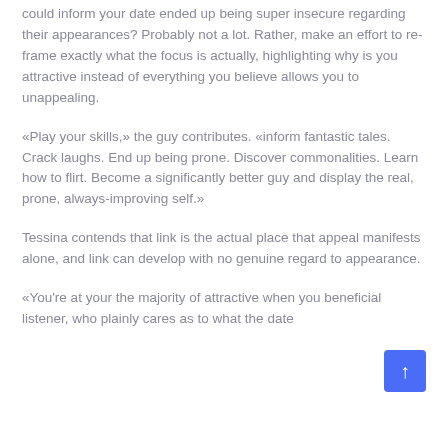could inform your date ended up being super insecure regarding their appearances? Probably not a lot. Rather, make an effort to re-frame exactly what the focus is actually, highlighting why is you attractive instead of everything you believe allows you to unappealing.
«Play your skills,» the guy contributes. «inform fantastic tales. Crack laughs. End up being prone. Discover commonalities. Learn how to flirt. Become a significantly better guy and display the real, prone, always-improving self.»
Tessina contends that link is the actual place that appeal manifests alone, and link can develop with no genuine regard to appearance.
«You're at your the majority of attractive when you beneficial listener, who plainly cares as to what the date